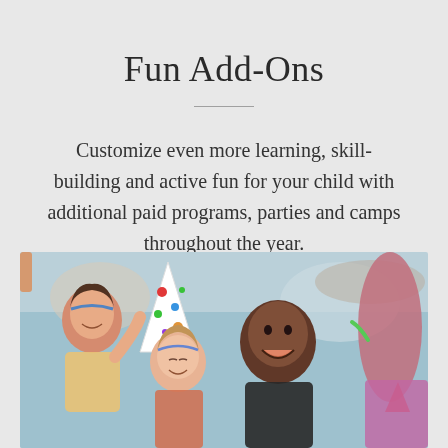Fun Add-Ons
Customize even more learning, skill-building and active fun for your child with additional paid programs, parties and camps throughout the year.
[Figure (photo): Children at an outdoor pool party; a girl with a party hat, a child with natural curly hair laughing, and another person holding party items, with a water park or pool visible in the background.]